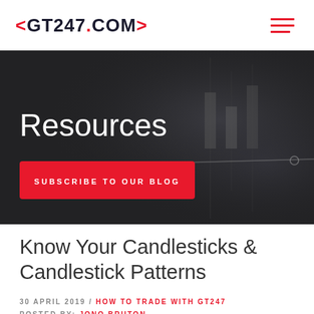<GT247.COM>
[Figure (screenshot): Dark hero banner with candlestick chart background showing 'Resources' heading and a red 'SUBSCRIBE TO OUR BLOG' button]
Know Your Candlesticks & Candlestick Patterns
30 APRIL 2019 / HOW TO TRADE WITH GT247
POSTED BY: JONO BRUTON